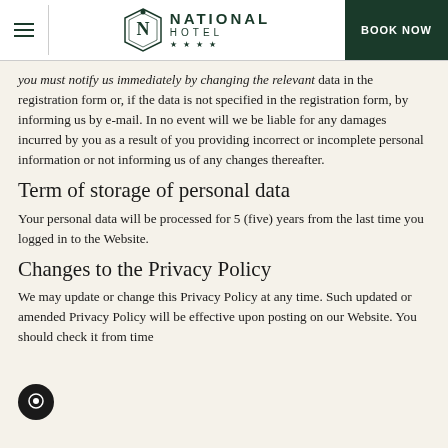National Hotel — website header with logo and BOOK NOW button
you must notify us immediately by changing the relevant data in the registration form or, if the data is not specified in the registration form, by informing us by e-mail. In no event will we be liable for any damages incurred by you as a result of you providing incorrect or incomplete personal information or not informing us of any changes thereafter.
Term of storage of personal data
Your personal data will be processed for 5 (five) years from the last time you logged in to the Website.
Changes to the Privacy Policy
We may update or change this Privacy Policy at any time. Such updated or amended Privacy Policy will be effective upon posting on our Website. You should check it from time to time to ensure you are aware of the latest version.